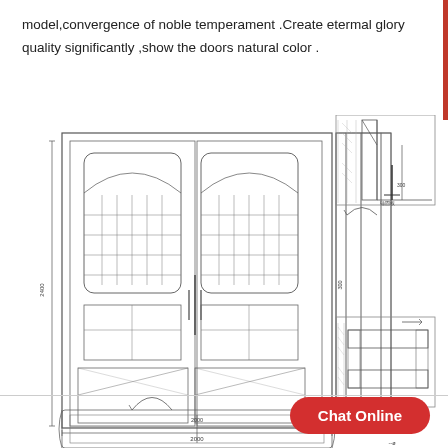model,convergence of noble temperament .Create etermal glory quality significantly ,show the doors natural color .
[Figure (engineering-diagram): Technical engineering drawings of a double-panel ornate door set. Includes: front elevation view of double doors with decorative wrought-iron glass panels and lower cross-panel detail with dimension annotations; side elevation cross-section view; top plan view showing door swing; and two detail cross-section views of the door frame/wall installation with material hatching and dimension callouts. A 'Chat Online' button overlay appears in the lower right.]